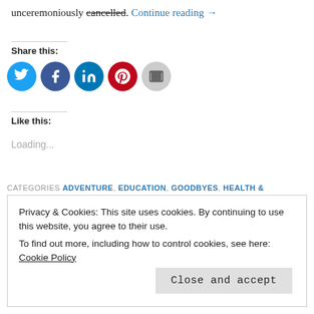unceremoniously cancelled. Continue reading →
Share this:
[Figure (other): Social sharing icons: Twitter (blue), Facebook (dark blue), LinkedIn (blue), Pinterest (red), Email (grey)]
Like this:
Loading...
CATEGORIES ADVENTURE, EDUCATION, GOODBYES, HEALTH &
Privacy & Cookies: This site uses cookies. By continuing to use this website, you agree to their use.
To find out more, including how to control cookies, see here:
Cookie Policy
Close and accept